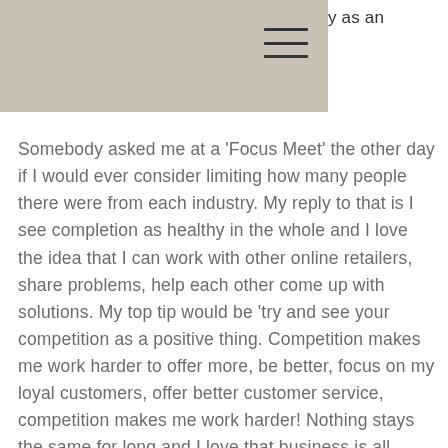y as an
Somebody asked me at a 'Focus Meet' the other day if I would ever consider limiting how many people there were from each industry. My reply to that is I see completion as healthy in the whole and I love the idea that I can work with other online retailers, share problems, help each other come up with solutions. My top tip would be 'try and see your competition as a positive thing. Competition makes me work harder to offer more, be better, focus on my loyal customers, offer better customer service, competition makes me work harder! Nothing stays the same for long and I love that business is all about moving on, spotting opportunities and running with them. I love